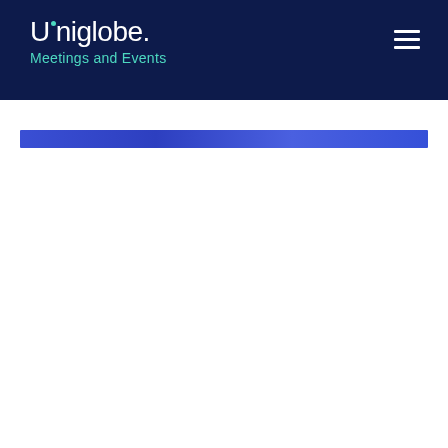Uniglobe. Meetings and Events
[Figure (other): Blue horizontal decorative banner strip below the navigation header]